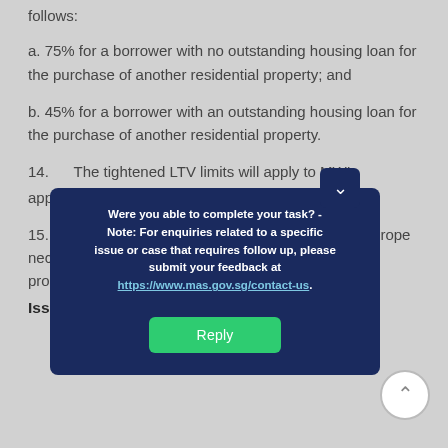follows:
a. 75% for a borrower with no outstanding housing loan for the purchase of another residential property; and
b. 45% for a borrower with an outstanding housing loan for the purchase of another residential property.
14.    The tightened LTV limits will apply to MWL applications made on or after 6 July 20182.
15.    The Government will continue to monitor the property market and adjust policies accordingly if necessary. Those thinking of purchasing a property...
Issued ... tional
[Figure (other): Modal dialog: 'Were you able to complete your task? - Note: For enquiries related to a specific issue or case that requires follow up, please submit your feedback at https://www.mas.gov.sg/contact-us.' with a green Reply button and a close chevron button at top right. A scroll-to-top circle button is at bottom right.]